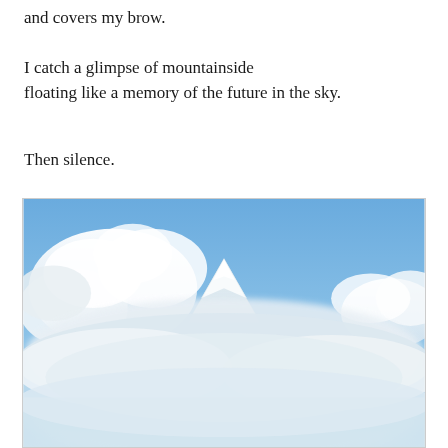and covers my brow.
I catch a glimpse of mountainside
floating like a memory of the future in the sky.
Then silence.
[Figure (photo): A snow-capped mountain peak floating above a sea of white clouds against a clear blue sky. The mountain top is white with snow and the clouds surround its base, giving the impression it is floating.]